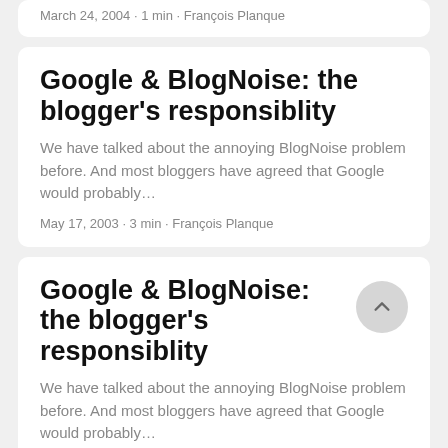March 24, 2004 · 1 min · François Planque
Google & BlogNoise: the blogger's responsiblity
We have talked about the annoying BlogNoise problem before. And most bloggers have agreed that Google would probably…
May 17, 2003 · 3 min · François Planque
Google & BlogNoise: the blogger's responsiblity
We have talked about the annoying BlogNoise problem before. And most bloggers have agreed that Google would probably…
May 17, 2003 · 3 min · François Planque